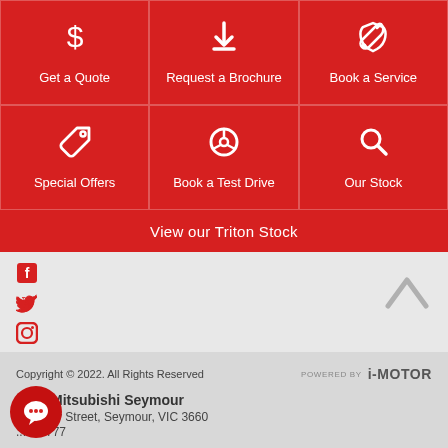[Figure (infographic): 3x2 grid of red action buttons with white icons and labels: Get a Quote (dollar sign icon), Request a Brochure (download icon), Book a Service (wrench icon), Special Offers (tag icon), Book a Test Drive (steering wheel icon), Our Stock (magnifier icon)]
View our Triton Stock
[Figure (infographic): Social media icons: Facebook (partial), Twitter, Instagram on left side; up-arrow chevron on right]
Copyright © 2022. All Rights Reserved    POWERED BY i-MOTOR
Beer Mitsubishi Seymour
51 Emily Street, Seymour, VIC 3660
... 2 2777